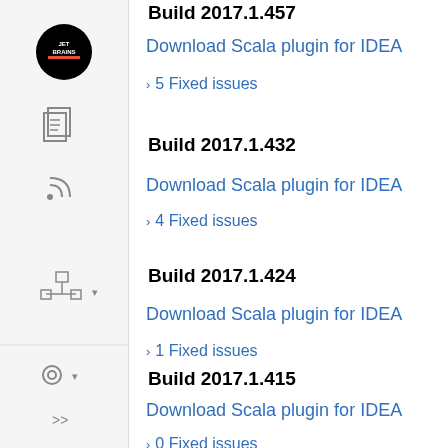[Figure (screenshot): JetBrains IDE sidebar with icons: logo, documents, RSS feed, tree/hierarchy, settings gear, arrows]
Build 2017.1.457
Download Scala plugin for IDEA
5 Fixed issues
Build 2017.1.432
Download Scala plugin for IDEA
4 Fixed issues
Build 2017.1.424
Download Scala plugin for IDEA
1 Fixed issues
Build 2017.1.415
Download Scala plugin for IDEA
0 Fixed issues
Build 2017.1.405